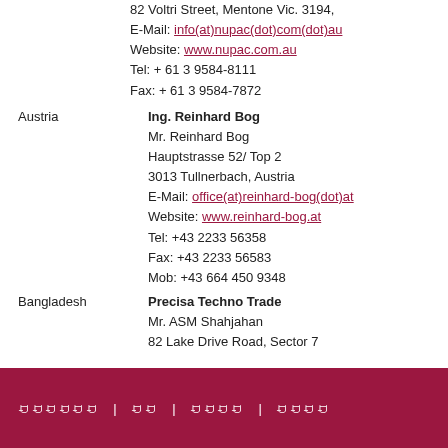82 Voltri Street, Mentone Vic. 3194,
E-Mail: info(at)nupac(dot)com(dot)au
Website: www.nupac.com.au
Tel: + 61 3 9584-8111
Fax: + 61 3 9584-7872
Austria
Ing. Reinhard Bog
Mr. Reinhard Bog
Hauptstrasse 52/ Top 2
3013 Tullnerbach, Austria
E-Mail: office(at)reinhard-bog(dot)at
Website: www.reinhard-bog.at
Tel: +43 2233 56358
Fax: +43 2233 56583
Mob: +43 664 450 9348
Bangladesh
Precisa Techno Trade
Mr. ASM Shahjahan
82 Lake Drive Road, Sector 7
ꀀꀀꀀꀀꀀꀀ | ꀀꀀ | ꀀꀀꀀꀀ | ꀀꀀꀀꀀ